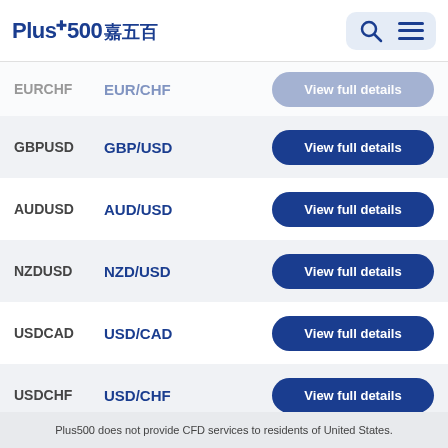[Figure (logo): Plus500 logo with Chinese characters 嘉五百]
| Code | Name | Action |
| --- | --- | --- |
| EURCHF | EUR/CHF | View full details |
| GBPUSD | GBP/USD | View full details |
| AUDUSD | AUD/USD | View full details |
| NZDUSD | NZD/USD | View full details |
| USDCAD | USD/CAD | View full details |
| USDCHF | USD/CHF | View full details |
| USDJPY | USD/JPY | View full details |
| DX | U.S. Dollar Index | View full details |
| AUDCAD | AUD/CAD | View full details |
Plus500 does not provide CFD services to residents of United States.